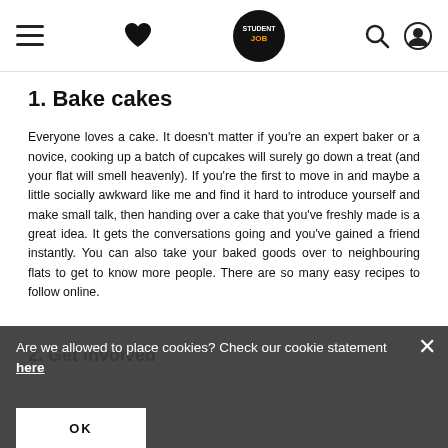StudentJob navigation bar with menu, heart, logo, search, and profile icons
1. Bake cakes
Everyone loves a cake. It doesn't matter if you're an expert baker or a novice, cooking up a batch of cupcakes will surely go down a treat (and your flat will smell heavenly). If you're the first to move in and maybe a little socially awkward like me and find it hard to introduce yourself and make small talk, then handing over a cake that you've freshly made is a great idea. It gets the conversations going and you've gained a friend instantly. You can also take your baked goods over to neighbouring flats to get to know more people. There are so many easy recipes to follow online.
2. Get involved
Are we allowed to place cookies? Check our cookie statement here
OK